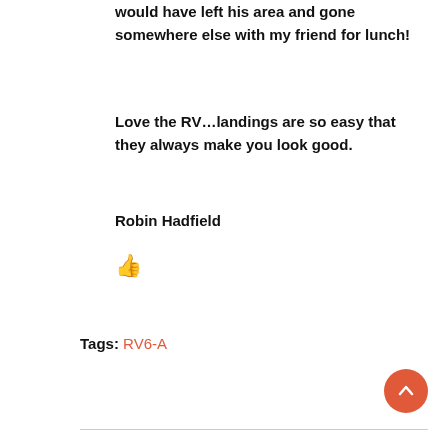would have left his area and gone somewhere else with my friend for lunch!
Love the RV…landings are so easy that they always make you look good.
Robin Hadfield
[Figure (illustration): Thumbs up icon]
Tags: RV6-A